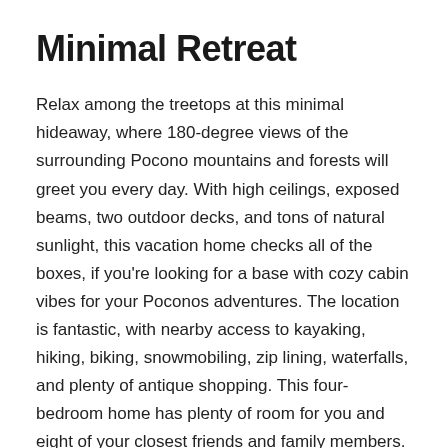Minimal Retreat
Relax among the treetops at this minimal hideaway, where 180-degree views of the surrounding Pocono mountains and forests will greet you every day. With high ceilings, exposed beams, two outdoor decks, and tons of natural sunlight, this vacation home checks all of the boxes, if you're looking for a base with cozy cabin vibes for your Poconos adventures. The location is fantastic, with nearby access to kayaking, hiking, biking, snowmobiling, zip lining, waterfalls, and plenty of antique shopping. This four-bedroom home has plenty of room for you and eight of your closest friends and family members.
Relax among the treetops at this minimal hideaway, where 180-degree views of the surrounding Pocono mountains and forests will greet you every day. With high ceilings, exposed...